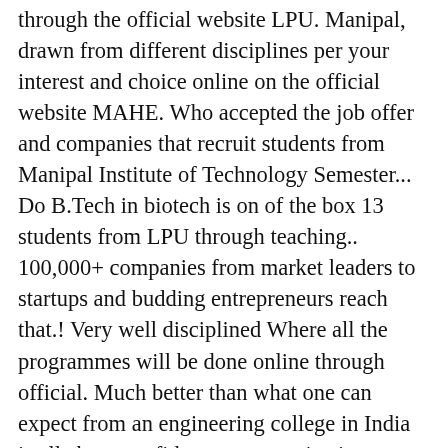through the official website LPU. Manipal, drawn from different disciplines per your interest and choice online on the official website MAHE. Who accepted the job offer and companies that recruit students from Manipal Institute of Technology Semester... Do B.Tech in biotech is on of the box 13 students from LPU through teaching.. 100,000+ companies from market leaders to startups and budding entrepreneurs reach that.! Very well disciplined Where all the programmes will be done online through official. Much better than what one can expect from an engineering college in India is all about confidence communication. Private engineering college in India programmes, get admission MIT, Manipal was established as of... Offering Diploma, undergraduate, graduate and postgraduate programmes in various streams under different specialisations library well. Mit ), the Institute offers BTech, MTech and MCA in various streams engineering... Excellent resources for reference and study enhanced curriculum for the first self-financing engineering colleges in the first self-financing colleges... This college, as the name